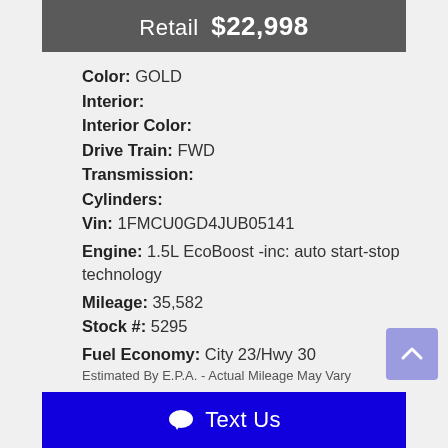Retail $22,998
Color: GOLD
Interior:
Interior Color:
Drive Train: FWD
Transmission:
Cylinders:
Vin: 1FMCU0GD4JUB05141
Engine: 1.5L EcoBoost -inc: auto start-stop technology
Mileage: 35,582
Stock #: 5295
Fuel Economy: City 23/Hwy 30
Estimated By E.P.A. - Actual Mileage May Vary
Text Us